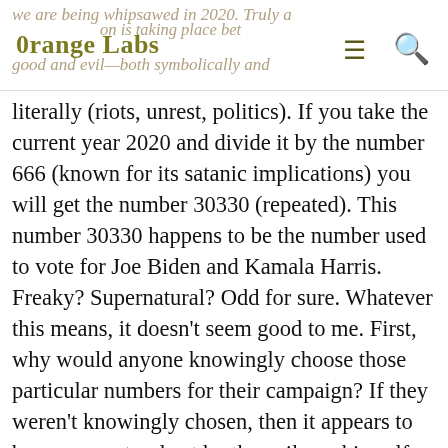0range Labs
literally (riots, unrest, politics). If you take the current year 2020 and divide it by the number 666 (known for its satanic implications) you will get the number 30330 (repeated). This number 30330 happens to be the number used to vote for Joe Biden and Kamala Harris. Freaky? Supernatural? Odd for sure. Whatever this means, it doesn't seem good to me. First, why would anyone knowingly choose those particular numbers for their campaign? If they weren't knowingly chosen, then it appears to be a supernatural act by the evil one himself and I would want to change those numbers ASAP. And if the numbers were